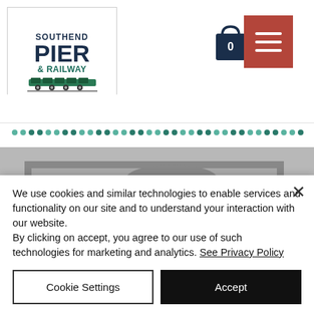[Figure (logo): Southend Pier & Railway logo — shield shape with text SOUTHEND PIER & RAILWAY and a train graphic]
[Figure (illustration): Shopping bag icon with number 0 and hamburger menu icon in terracotta/rust color]
[Figure (photo): Historic black and white photograph showing men standing with horses in front of a building, likely early 20th century]
We use cookies and similar technologies to enable services and functionality on our site and to understand your interaction with our website.
By clicking on accept, you agree to our use of such technologies for marketing and analytics. See Privacy Policy
Cookie Settings
Accept